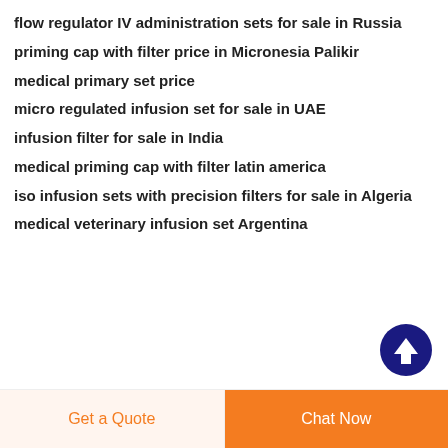flow regulator IV administration sets for sale in Russia
priming cap with filter price in Micronesia Palikir
medical primary set price
micro regulated infusion set for sale in UAE
infusion filter for sale in India
medical priming cap with filter latin america
iso infusion sets with precision filters for sale in Algeria
medical veterinary infusion set Argentina